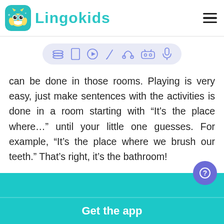Lingokids
[Figure (illustration): Lingokids owl mascot logo icon in teal rounded square]
[Figure (infographic): Horizontal icon toolbar with 7 category icons: layers/books, document, play button, pencil, headphones, game controller, microphone — on a light lavender rounded pill background]
can be done in those rooms. Playing is very easy, just make sentences with the activities is done in a room starting with “It’s the place where…” until your little one guesses. For example, “It’s the place where we brush our teeth.” That’s right, it’s the bathroom!
[Figure (illustration): Teal/turquoise horizontal bar (navigation or ad banner area)]
Get the app